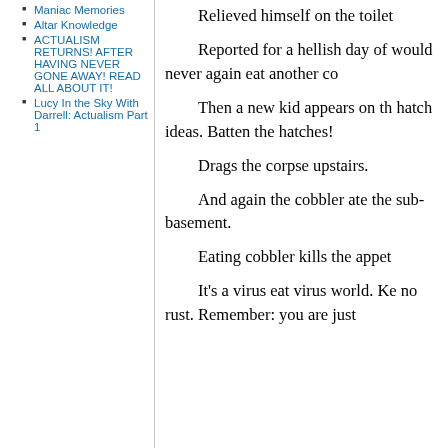Maniac Memories
Altar Knowledge
ACTUALISM RETURNS! AFTER HAVING NEVER GONE AWAY! READ ALL ABOUT IT!
Lucy In the Sky With Darrell: Actualism Part 1
Relieved himself on the toilet
Reported for a hellish day of would never again eat another co
Then a new kid appears on th hatch ideas. Batten the hatches!
Drags the corpse upstairs.
And again the cobbler ate the sub-basement.
Eating cobbler kills the appet
It’s a virus eat virus world. Ke no rust. Remember: you are just